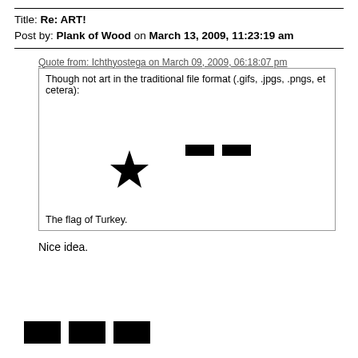Title: Re: ART!
Post by: Plank of Wood on March 13, 2009, 11:23:19 am
Quote from: Ichthyostega on March 09, 2009, 06:18:07 pm
[Figure (illustration): A box containing the text 'Though not art in the traditional file format (.gifs, .jpgs, .pngs, et cetera):' followed by an ASCII/Unicode rendering of the flag of Turkey (crescent moon and star, plus two black rectangles) and the caption 'The flag of Turkey.']
Nice idea.
[Figure (illustration): Three black rectangles at the bottom of the page, resembling social media or navigation icons blacked out.]